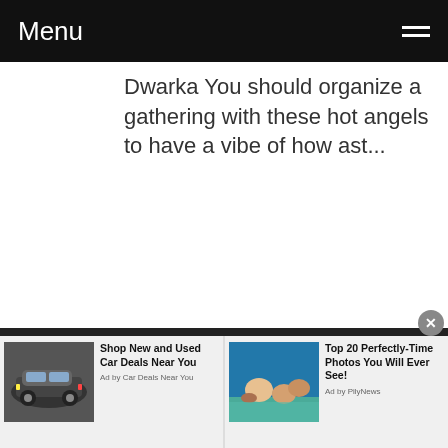Menu
Dwarka You should organize a gathering with these hot angels to have a vibe of how ast...
Read more
[Figure (other): Advertisement: Shop New and Used Car Deals Near You — Ad by Car Deals Near You, with thumbnail of dark SUV]
[Figure (photo): Advertisement: Top 20 Perfectly-Time Photos You Will Ever See! — Ad by PilyNews, with thumbnail of people in ocean]
Ad by Car Deals Near You
Ad by PilyNews